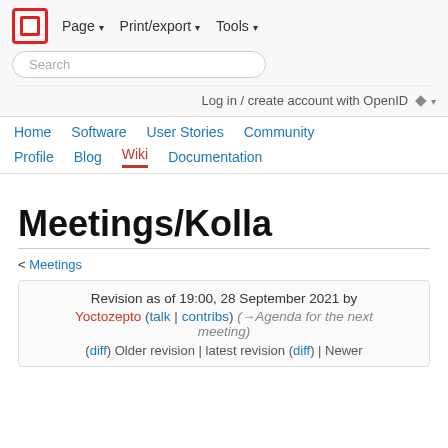Page ▾  Print/export ▾  Tools ▾
Search
Log in / create account with OpenID
Home  Software  User Stories  Community  Profile  Blog  Wiki  Documentation
Meetings/Kolla
< Meetings
Revision as of 19:00, 28 September 2021 by Yoctozepto (talk | contribs) (→Agenda for the next meeting)
(diff)  Older revision | latest revision (diff) | Newer